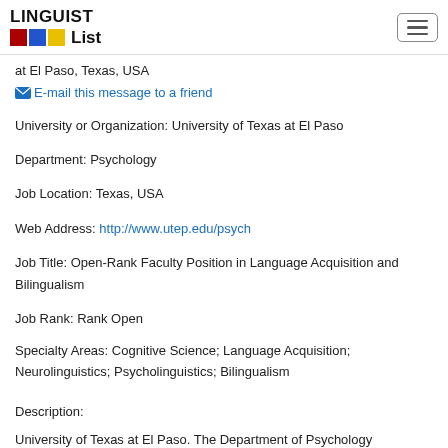LINGUIST List
at El Paso, Texas, USA
E-mail this message to a friend
University or Organization: University of Texas at El Paso
Department: Psychology
Job Location: Texas, USA
Web Address: http://www.utep.edu/psych
Job Title: Open-Rank Faculty Position in Language Acquisition and Bilingualism
Job Rank: Rank Open
Specialty Areas: Cognitive Science; Language Acquisition; Neurolinguistics; Psycholinguistics; Bilingualism
Description:
University of Texas at El Paso. The Department of Psychology